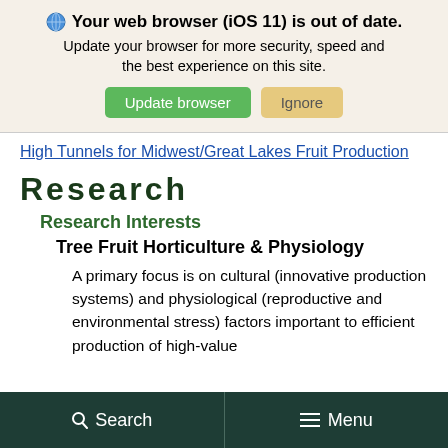Your web browser (iOS 11) is out of date. Update your browser for more security, speed and the best experience on this site. Update browser | Ignore
High Tunnels for Midwest/Great Lakes Fruit Production
Research
Research Interests
Tree Fruit Horticulture & Physiology
A primary focus is on cultural (innovative production systems) and physiological (reproductive and environmental stress) factors important to efficient production of high-value
Search   Menu